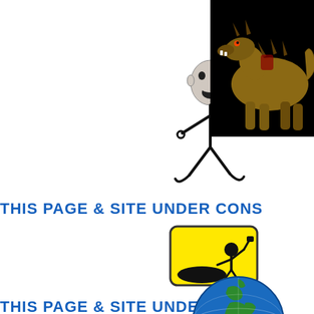[Figure (illustration): A stick figure with a realistic human face (open-mouthed, shouting expression), running or dancing pose, drawn in black lines on white background.]
[Figure (photo): A fantasy creature resembling a large dinosaur or dragon-like beast with a rider or saddle, set against a black background. Appears to be a video game character (World of Warcraft style raptor mount).]
THIS PAGE & SITE UNDER CONS
[Figure (illustration): A yellow rectangular sign with rounded corners and a black border, showing a worker/construction figure digging near a mound — a classic 'under construction' web icon.]
THIS PAGE & SITE UNDER CONS
[Figure (illustration): A 3D-rendered globe showing Earth with blue oceans and green/brown landmasses (Europe and Africa visible), partially cropped at the bottom of the page.]